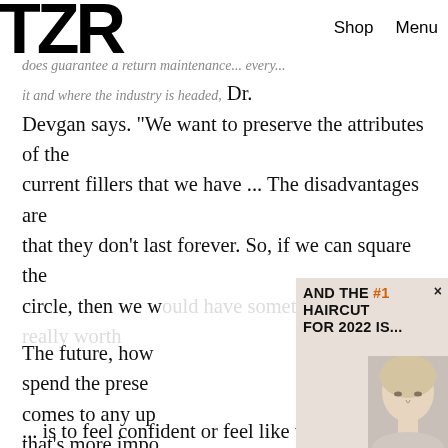TZR  Shop  Menu
does guarantee a return maintenance ... every ... it and where the industry is headed, Dr. Devgan says. "We want to preserve the attributes of the current fillers that we have ... The disadvantages are that they don't last forever. So, if we can square the circle, then we w...
[Figure (other): Haircut ad banner with text 'AND THE #1 HAIRCUT FOR 2022 IS...' and a portrait of a blonde woman, with a close (×) button]
The future, how... spend the prese... comes to any up... that's more impo... Petri dish or in a... experience in yo... "Ultimately, the... medicine — incl... ... is to feel confident or feel like the best version of
Join The List

Sign up for TZR's exclusive email list to uncover this season's top trends
Email address   Subscribe